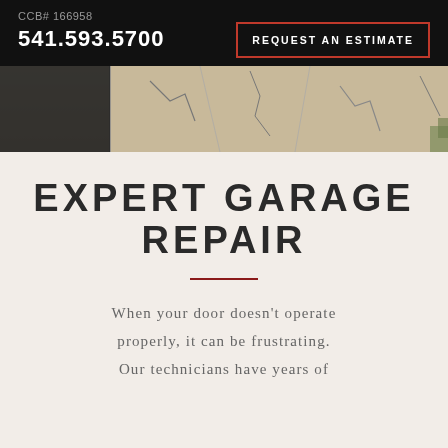CCB# 166958
541.593.5700
REQUEST AN ESTIMATE
[Figure (photo): Aerial or close-up view of cracked concrete or stone pavement/driveway surface]
EXPERT GARAGE REPAIR
When your door doesn't operate properly, it can be frustrating. Our technicians have years of